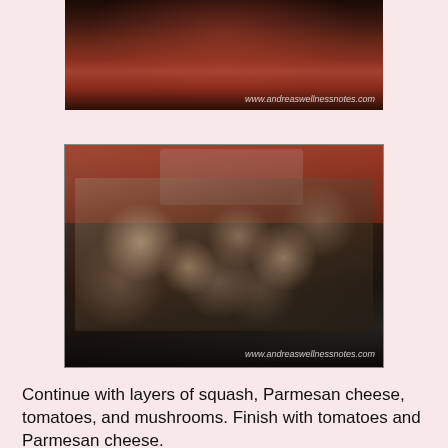[Figure (photo): Top portion of a baking dish with red tomato sauce visible, watermark: www.andreaswellnessnotes.com]
[Figure (photo): Glass baking dish containing layers of mushrooms over red tomato sauce with ingredients visible in background. Watermark: www.andreaswellnessnotes.com]
Continue with layers of squash, Parmesan cheese, tomatoes, and mushrooms. Finish with tomatoes and Parmesan cheese.
[Figure (photo): Bottom portion of a baking dish with dark reddish-brown contents visible at the bottom of the page]